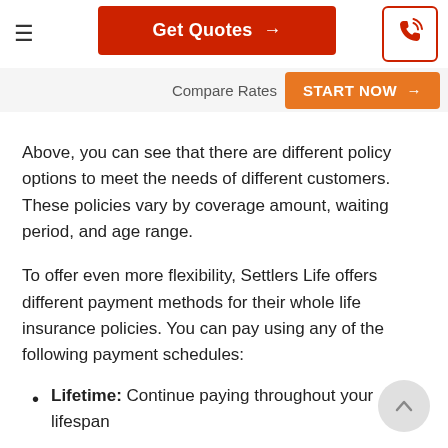Get Quotes →
Compare Rates   START NOW →
Above, you can see that there are different policy options to meet the needs of different customers. These policies vary by coverage amount, waiting period, and age range.
To offer even more flexibility, Settlers Life offers different payment methods for their whole life insurance policies. You can pay using any of the following payment schedules:
Lifetime: Continue paying throughout your lifespan